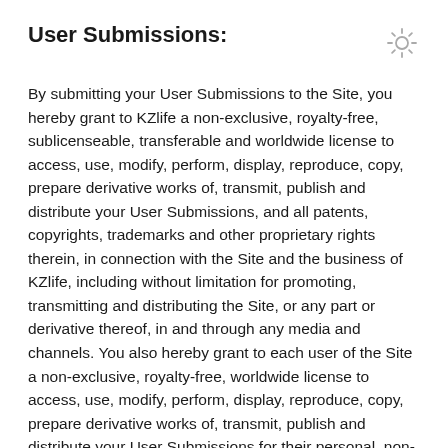User Submissions:
By submitting your User Submissions to the Site, you hereby grant to KZlife a non-exclusive, royalty-free, sublicenseable, transferable and worldwide license to access, use, modify, perform, display, reproduce, copy, prepare derivative works of, transmit, publish and distribute your User Submissions, and all patents, copyrights, trademarks and other proprietary rights therein, in connection with the Site and the business of KZlife, including without limitation for promoting, transmitting and distributing the Site, or any part or derivative thereof, in and through any media and channels. You also hereby grant to each user of the Site a non-exclusive, royalty-free, worldwide license to access, use, modify, perform, display, reproduce, copy, prepare derivative works of, transmit, publish and distribute your User Submissions for their personal, non-commercial use as permitted through the services and functionality of the Site. You are solely responsible for your own User Submissions